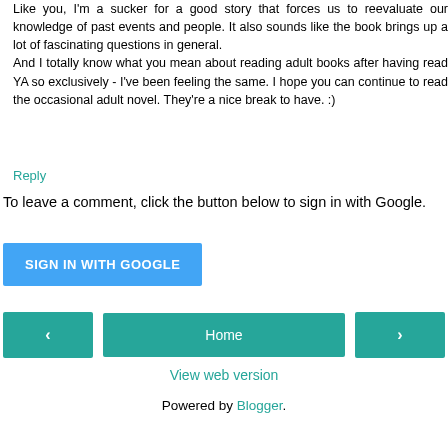Like you, I'm a sucker for a good story that forces us to reevaluate our knowledge of past events and people. It also sounds like the book brings up a lot of fascinating questions in general.
And I totally know what you mean about reading adult books after having read YA so exclusively - I've been feeling the same. I hope you can continue to read the occasional adult novel. They're a nice break to have. :)
Reply
To leave a comment, click the button below to sign in with Google.
[Figure (other): Blue 'SIGN IN WITH GOOGLE' button]
[Figure (other): Navigation row with left arrow, Home button, and right arrow in teal/green]
View web version
Powered by Blogger.